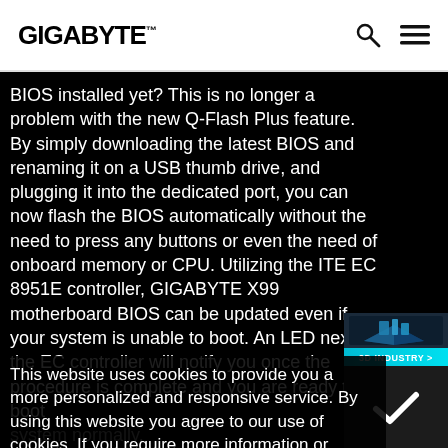GIGABYTE
BIOS installed yet? This is no longer a problem with the new Q-Flash Plus feature. By simply downloading the latest BIOS and renaming it on a USB thumb drive, and plugging it into the dedicated port, you can now flash the BIOS automatically without the need to press any buttons or even the need of onboard memory or CPU. Utilizing the ITE EC 8951E controller, GIGABYTE X99 motherboard BIOS can be updated even if your system is unable to boot. An LED next to the EC controller will notify you once the procedure is complete and you are ready to boot the system normally.
This website uses cookies to provide you a more personalized and responsive service. By using this website you agree to our use of cookies. If you require more information or prefer not to accept cookies please visit our Privacy Policy
[Figure (infographic): 3D Industry promotional banner with isometric 3D scene and cyan label reading '3D INDUSTRY >']